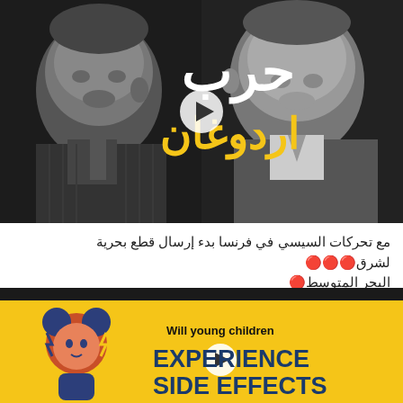[Figure (photo): Black and white image of two political leaders (Erdogan on left, Sisi on right) with Arabic text overlay reading 'حرب اردوغان' (Erdogan War) in white and yellow, with a video play button icon in the center]
مع تحركات السيسي في فرنسا بدء إرسال قطع بحرية لشرق🔴🔴🔴 البحر المتوسط🔴
[Figure (photo): Yellow background infographic with a cartoon girl illustration on the left and text reading 'Will young children EXPERIENCE SIDE EFFECTS' with a video play button icon, dark bar at top]